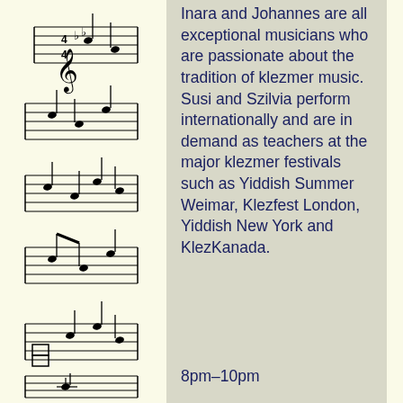[Figure (illustration): Sheet music notation rendered vertically along the left side of the page, showing musical staff lines with treble clef, notes, and various musical symbols in black on cream/white background.]
Inara and Johannes are all exceptional musicians who are passionate about the tradition of klezmer music. Susi and Szilvia perform internationally and are in demand as teachers at the major klezmer festivals such as Yiddish Summer Weimar, Klezfest London, Yiddish New York and KlezKanada.
8pm–10pm